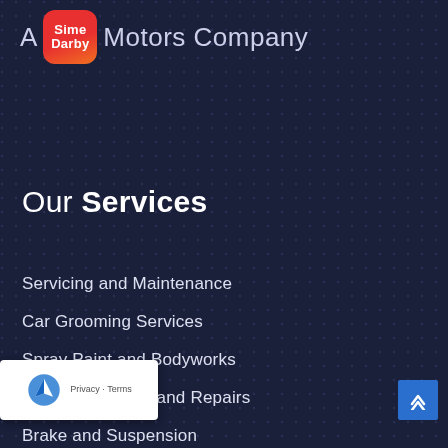A Sime Darby Motors Company
Our Services
Servicing and Maintenance
Car Grooming Services
Spray Paint and Bodyworks
Engine Overhaul and Repairs
Brake and Suspension
24/7 Roadside Assistance
and Transmission
Pre-Purchase Inspection